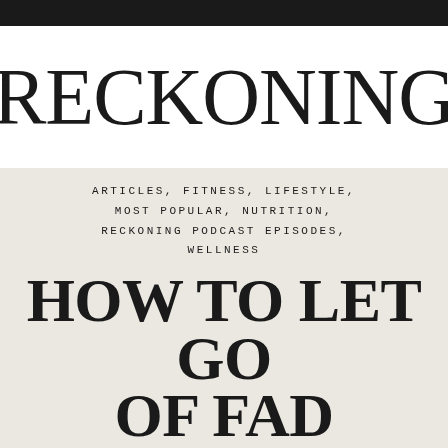RECKONING
ARTICLES, FITNESS, LIFESTYLE, MOST POPULAR, NUTRITION, RECKONING PODCAST EPISODES, WELLNESS
HOW TO LET GO OF FAD DIETING & EAT REAL WHOLE FOODS